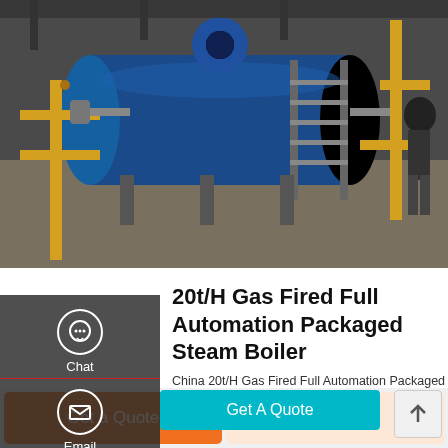[Figure (photo): Industrial boiler room with large blue horizontal gas-fired steam boiler, yellow pipes and support structures, metal staircase, and worker visible on right side]
20t/H Gas Fired Full Automation Packaged Steam Boiler
China 20t/H Gas Fired Full Automation Packaged Steam Boiler (WNS20-1.25-Y/Q), Find details about China Gas Boiler, Steam Boiler from 20t/H Gas Fired Full Automation Packaged Steam Boiler (WNS20-1.25-Y/Q) - Wuxi Zozen Boilers Co., Ltd.
Get A Quote
Get a Quote
WhatsApp